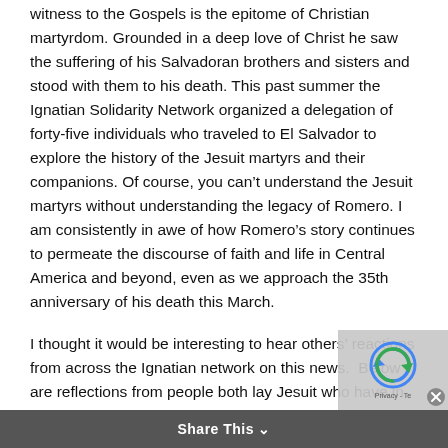witness to the Gospels is the epitome of Christian martyrdom. Grounded in a deep love of Christ he saw the suffering of his Salvadoran brothers and sisters and stood with them to his death. This past summer the Ignatian Solidarity Network organized a delegation of forty-five individuals who traveled to El Salvador to explore the history of the Jesuit martyrs and their companions. Of course, you can't understand the Jesuit martyrs without understanding the legacy of Romero. I am consistently in awe of how Romero's story continues to permeate the discourse of faith and life in Central America and beyond, even as we approach the 35th anniversary of his death this March.

I thought it would be interesting to hear others' reactions from across the Ignatian network on this news.  Below are reflections from people both lay Jesuit who have in some way been impacted by Romero.  I invited them to reflect on what the
Share This